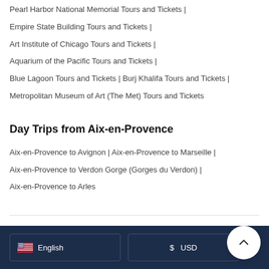Pearl Harbor National Memorial Tours and Tickets |
Empire State Building Tours and Tickets |
Art Institute of Chicago Tours and Tickets |
Aquarium of the Pacific Tours and Tickets |
Blue Lagoon Tours and Tickets | Burj Khalifa Tours and Tickets |
Metropolitan Museum of Art (The Met) Tours and Tickets
Day Trips from Aix-en-Provence
Aix-en-Provence to Avignon | Aix-en-Provence to Marseille |
Aix-en-Provence to Verdon Gorge (Gorges du Verdon) |
Aix-en-Provence to Arles
English | $ USD